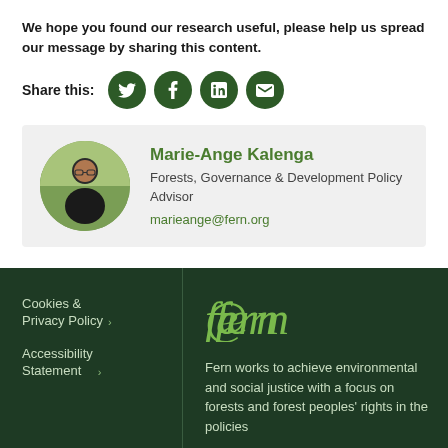We hope you found our research useful, please help us spread our message by sharing this content.
Share this:
[Figure (infographic): Four circular dark green social media share buttons: Twitter, Facebook, LinkedIn, Email]
[Figure (photo): Circular portrait photo of Marie-Ange Kalenga in an outdoor setting]
Marie-Ange Kalenga
Forests, Governance & Development Policy Advisor
marieange@fern.org
Cookies & Privacy Policy >
Accessibility Statement >
[Figure (logo): Fern organisation logo in green italic text]
Fern works to achieve environmental and social justice with a focus on forests and forest peoples' rights in the policies